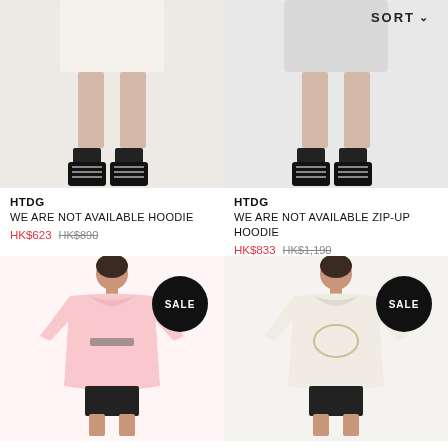SORT
[Figure (photo): Model wearing cream/beige oversized hoodie with black lace-up boots, cropped at torso - top half not visible]
[Figure (photo): Model wearing light grey oversized hoodie with black lace-up boots, cropped at torso - top half not visible]
HTDG
WE ARE NOT AVAILABLE HOODIE
HK$623   HK$890
HTDG
WE ARE NOT AVAILABLE ZIP-UP HOODIE
HK$833   HK$1,190
[Figure (photo): Model wearing pink oversized hoodie dress with black shorts/biker shorts, SALE badge in top right]
[Figure (photo): Model wearing cream/white oversized hoodie dress with black shorts/biker shorts, SALE badge in top right]